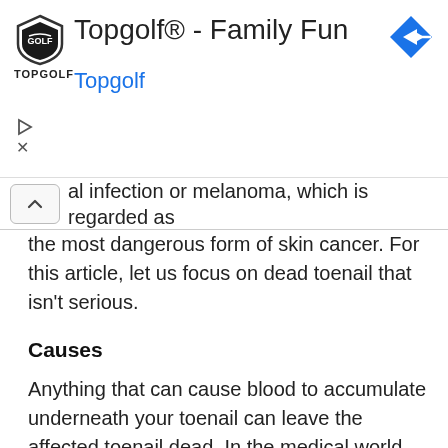[Figure (other): Topgolf advertisement banner with logo, title 'Topgolf® - Family Fun', subtitle 'Topgolf', play and close controls, and navigation arrow icon]
al infection or melanoma, which is regarded as the most dangerous form of skin cancer. For this article, let us focus on dead toenail that isn't serious.
Causes
Anything that can cause blood to accumulate underneath your toenail can leave the affected toenail dead. In the medical world, such happening is referred to as subungual hematoma. So here are the usual causes: